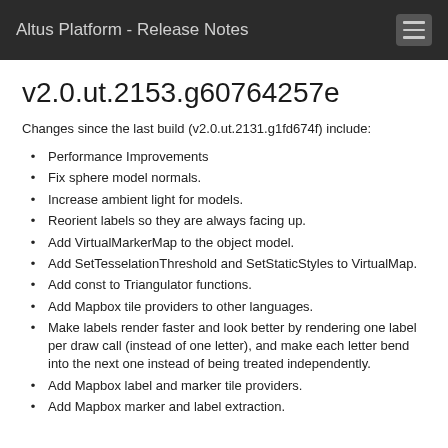Altus Platform - Release Notes
v2.0.ut.2153.g60764257e
Changes since the last build (v2.0.ut.2131.g1fd674f) include:
Performance Improvements
Fix sphere model normals.
Increase ambient light for models.
Reorient labels so they are always facing up.
Add VirtualMarkerMap to the object model.
Add SetTesselationThreshold and SetStaticStyles to VirtualMap.
Add const to Triangulator functions.
Add Mapbox tile providers to other languages.
Make labels render faster and look better by rendering one label per draw call (instead of one letter), and make each letter bend into the next one instead of being treated independently.
Add Mapbox label and marker tile providers.
Add Mapbox marker and label extraction.